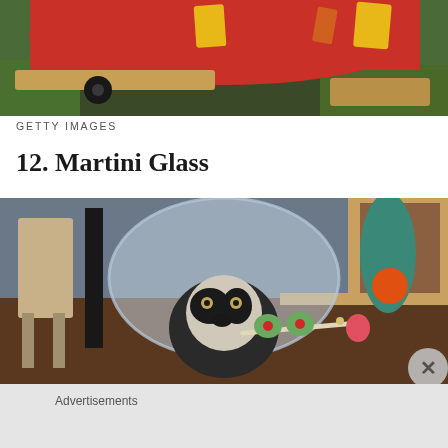[Figure (photo): Top portion of a dog in a red costume with yellow patches, sitting on wooden planks with green grass in background]
GETTY IMAGES
12. Martini Glass
[Figure (photo): A black and white dog wearing a transparent cone collar (e-collar) with martini glass olives on a stick in its mouth, sitting in a room, with an X close button overlay]
Advertisements